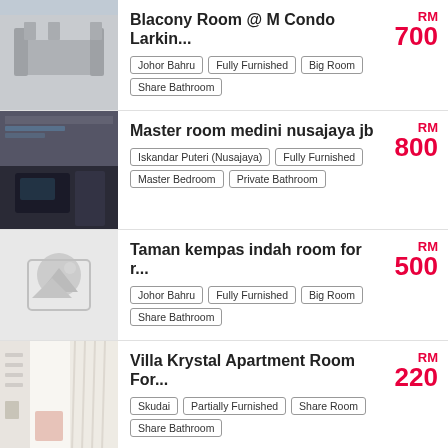Blacony Room @ M Condo Larkin...
Tags: Johor Bahru, Fully Furnished, Big Room, Share Bathroom | Price: RM 700
Master room medini nusajaya jb
Tags: Iskandar Puteri (Nusajaya), Fully Furnished, Master Bedroom, Private Bathroom | Price: RM 800
Taman kempas indah room for r...
Tags: Johor Bahru, Fully Furnished, Big Room, Share Bathroom | Price: RM 500
Villa Krystal Apartment Room For...
Tags: Skudai, Partially Furnished, Share Room, Share Bathroom | Price: RM 220